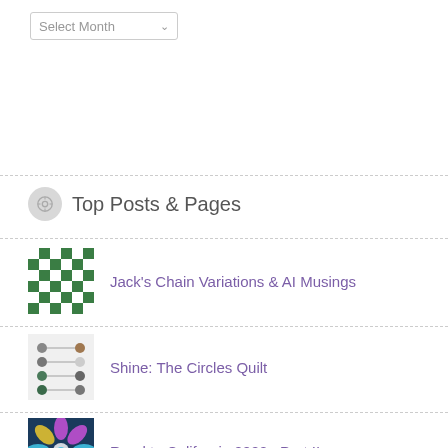Select Month
Top Posts & Pages
Jack's Chain Variations & AI Musings
Shine: The Circles Quilt
Road to California 2022 · Part II